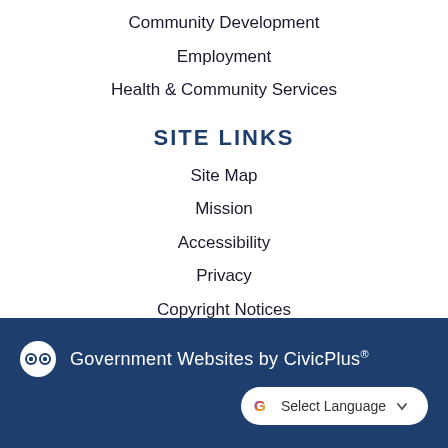Community Development
Employment
Health & Community Services
SITE LINKS
Site Map
Mission
Accessibility
Privacy
Copyright Notices
Government Websites by CivicPlus® Select Language